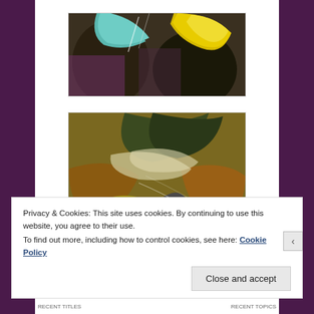[Figure (illustration): Partial view of an abstract painting with teal, yellow, and dark shapes suggesting bottles or objects, cropped at top]
[Figure (illustration): Abstract painting with olive greens, yellows, browns, and dark shapes — suggests musical instruments or organic forms with a bird-like dark figure in center]
Privacy & Cookies: This site uses cookies. By continuing to use this website, you agree to their use.
To find out more, including how to control cookies, see here: Cookie Policy
Close and accept